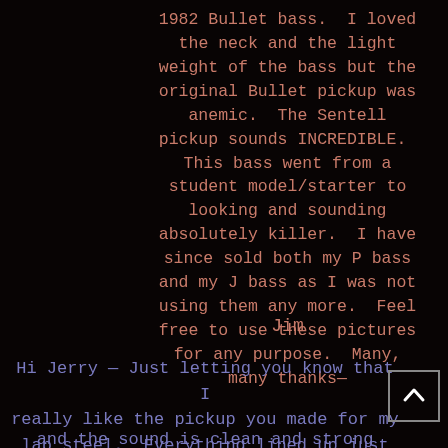1982 Bullet bass.  I loved the neck and the light weight of the bass but the original Bullet pickup was anemic.  The Sentell pickup sounds INCREDIBLE.  This bass went from a student model/starter to looking and sounding absolutely killer.  I have since sold both my P bass and my J bass as I was not using them any more.  Feel free to use these pictures for any purpose.  Many, many thanks—
Jim
Hi Jerry — Just letting you know that I really like the pickup you made for my lap steel.  Everything lined up just right
and the sound is clean and strong